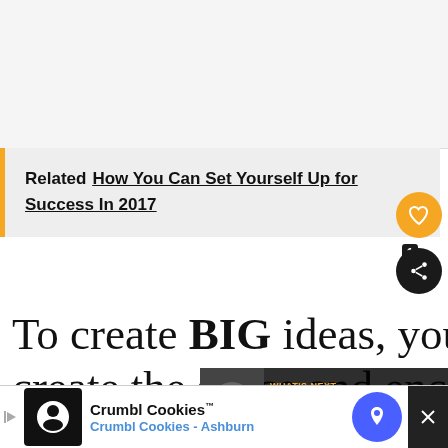[Figure (screenshot): White/light gray top area, blank space]
Related   How You Can Set Yourself Up for Success In 2017
To create BIG ideas, you have to create the space and enc... that sort of behavior and culture.
[Figure (infographic): WHAT'S NEXT → 16 Ways to Jump Start... overlay box with thumbnail]
[Figure (infographic): Crumbl Cookies advertisement bar at bottom]